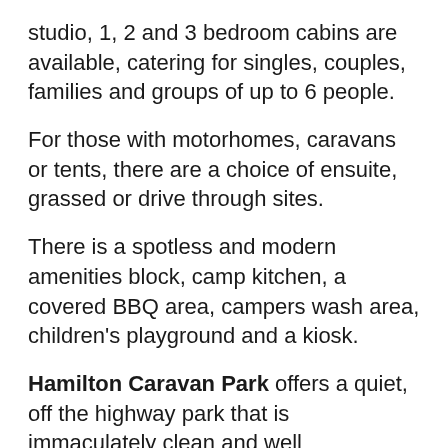studio, 1, 2 and 3 bedroom cabins are available, catering for singles, couples, families and groups of up to 6 people.
For those with motorhomes, caravans or tents, there are a choice of ensuite, grassed or drive through sites.
There is a spotless and modern amenities block, camp kitchen, a covered BBQ area, campers wash area, children's playground and a kiosk.
Hamilton Caravan Park offers a quiet, off the highway park that is immaculately clean and well maintained. Come and experience friendly country hospitality when you stay with us.
DOG INFORMATION: